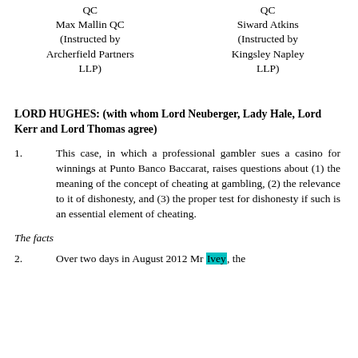QC
Max Mallin QC
(Instructed by Archerfield Partners LLP)
QC
Siward Atkins
(Instructed by Kingsley Napley LLP)
LORD HUGHES: (with whom Lord Neuberger, Lady Hale, Lord Kerr and Lord Thomas agree)
1.	This case, in which a professional gambler sues a casino for winnings at Punto Banco Baccarat, raises questions about (1) the meaning of the concept of cheating at gambling, (2) the relevance to it of dishonesty, and (3) the proper test for dishonesty if such is an essential element of cheating.
The facts
2.	Over two days in August 2012 Mr Ivey, the